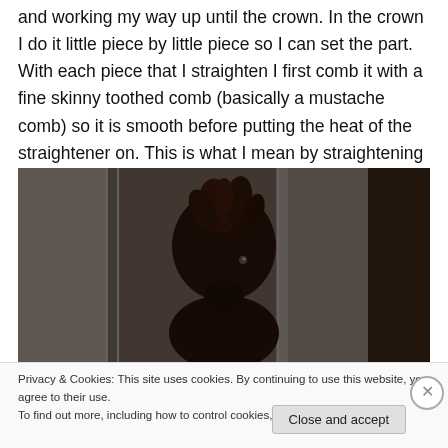and working my way up until the crown. In the crown I do it little piece by little piece so I can set the part. With each piece that I straighten I first comb it with a fine skinny toothed comb (basically a mustache comb) so it is smooth before putting the heat of the straightener on. This is what I mean by straightening in layers.
[Figure (photo): Dark, dimly lit photo of a person with voluminous, frizzy/curly dark hair, shown from behind or side, standing near white paneled walls or doors.]
Privacy & Cookies: This site uses cookies. By continuing to use this website, you agree to their use.
To find out more, including how to control cookies, see here: Cookie Policy